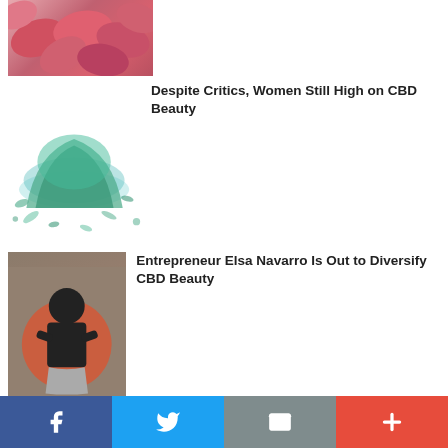[Figure (photo): Close-up of pink oval pills or petals]
[Figure (photo): Green powder pigment/CBD powder on white background]
Despite Critics, Women Still High on CBD Beauty
[Figure (photo): Woman standing in front of red/orange circle background - Elsa Navarro]
Entrepreneur Elsa Navarro Is Out to Diversify CBD Beauty
[Figure (photo): Close-up of a green eye with long eyelashes]
A Cannabis Serum for Eyebrows and Eyelashes Is Here
Comments are closed.